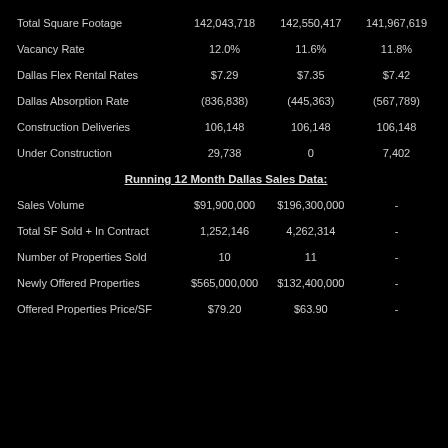|  | Col1 | Col2 | Col3 |
| --- | --- | --- | --- |
| Total Square Footage | 142,043,718 | 142,550,417 | 141,967,619 |
| Vacancy Rate | 12.0% | 11.6% | 11.8% |
| Dallas Flex Rental Rates | $7.29 | $7.35 | $7.42 |
| Dallas Absorption Rate | (836,838) | (445,363) | (567,789) |
| Construction Deliveries | 106,148 | 106,148 | 106,148 |
| Under Construction | 29,738 | 0 | 7,402 |
| Running 12 Month Dallas Sales Data: |  |  |  |
| Sales Volume | $91,900,000 | $196,300,000 | - |
| Total SF Sold + In Contract | 1,252,146 | 4,262,314 | - |
| Number of Properties Sold | 10 | 11 | - |
| Newly Offered Properties | $565,000,000 | $132,400,000 | - |
| Offered Properties Price/SF | $79.20 | $63.90 | - |